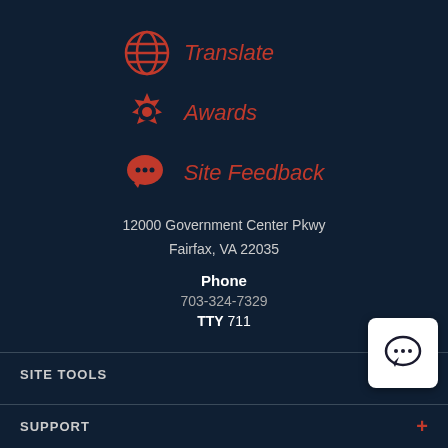Translate
Awards
Site Feedback
12000 Government Center Pkwy
Fairfax, VA 22035
Phone
703-324-7329
TTY 711
SITE TOOLS
SUPPORT